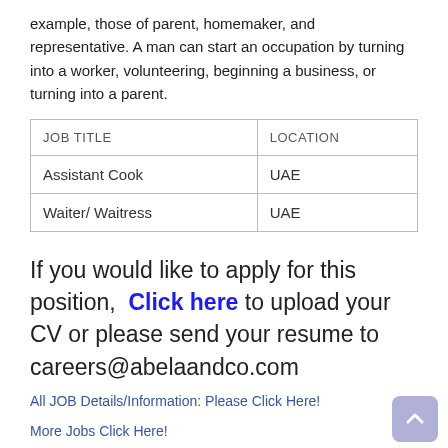example, those of parent, homemaker, and representative. A man can start an occupation by turning into a worker, volunteering, beginning a business, or turning into a parent.
| JOB TITLE | LOCATION |
| --- | --- |
| Assistant Cook | UAE |
| Waiter/ Waitress | UAE |
If you would like to apply for this position,  Click here to upload your CV or please send your resume to careers@abelaandco.com
All JOB Details/Information: Please Click Here!
More Jobs Click Here!
DIRECT STAFF RECRUITMENT – EMIRATES GROUP